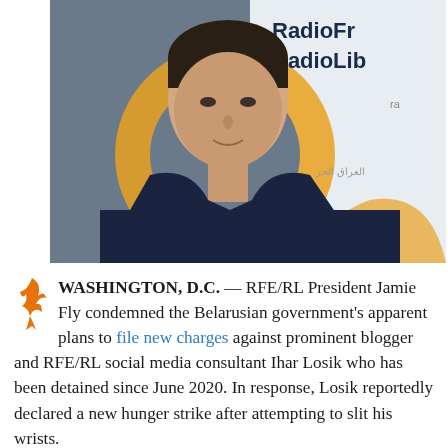[Figure (photo): A young man with short dark hair in a dark sweater, photographed in front of a Radio Free Europe/Radio Liberty (RFE/RL) backdrop showing the Radio Liberty logo with gold/yellow circular design and text in multiple languages including English 'RadioLib' and Cyrillic 'радио св']
WASHINGTON, D.C. — RFE/RL President Jamie Fly condemned the Belarusian government's apparent plans to file new charges against prominent blogger and RFE/RL social media consultant Ihar Losik who has been detained since June 2020. In response, Losik reportedly declared a new hunger strike after attempting to slit his wrists.